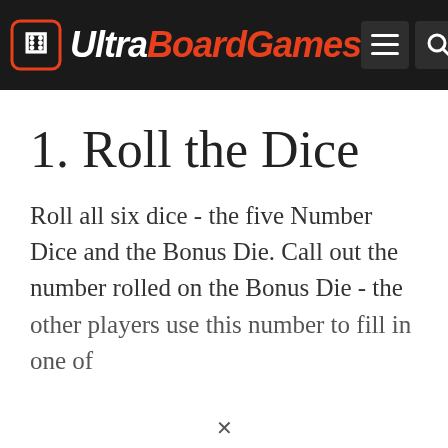UltraBoardGames
1. Roll the Dice
Roll all six dice - the five Number Dice and the Bonus Die. Call out the number rolled on the Bonus Die - the other players use this number to fill in one of